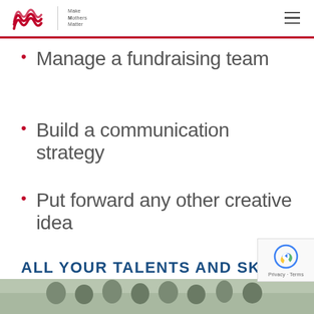Make Mothers Matter
Manage a fundraising team
Build a communication strategy
Put forward any other creative idea
ALL YOUR TALENTS AND SKILLS ARE WELCOME – DO NOT HESITATE TO CONTACT US
[Figure (photo): Group photo of people outdoors in a wooded area]
[Figure (logo): reCAPTCHA badge with Privacy and Terms text]